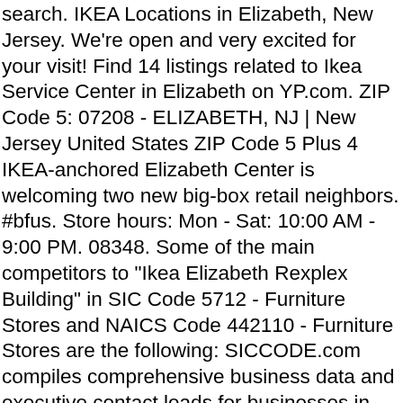search. IKEA Locations in Elizabeth, New Jersey. We're open and very excited for your visit! Find 14 listings related to Ikea Service Center in Elizabeth on YP.com. ZIP Code 5: 07208 - ELIZABETH, NJ | New Jersey United States ZIP Code 5 Plus 4  IKEA-anchored Elizabeth Center is welcoming two new big-box retail neighbors. #bfus. Store hours: Mon - Sat: 10:00 AM - 9:00 PM. 08348. Some of the main competitors to "Ikea Elizabeth Rexplex Building" in SIC Code 5712 - Furniture Stores and NAICS Code 442110 - Furniture Stores are the following: SICCODE.com compiles comprehensive business data and executive contact leads for businesses in the USA and Canada. Check the list of New Jersey ZIP Code. We are safely welcoming customers into the store and we're following guidelines provided by state and local authorities and the CDC. Ikea, Elizabeth: See 104 unbiased reviews of Ikea, rated 4 of 5 on Tripadvisor and ranked #16 of 308 restaurants in Elizabeth. At IKEA, providing a safe environment for our customers and co-workers is our top priority. Stocker (Current Employee) - Elizabeth, NJ - August 20, 2018 Management is great but the regular employees are very rude if the employees and aren't all team workers if the employees were more like management ikea would be a amazing place to work. This Babycare room is at the entrance and near restaurant. State: New Jersey Zip Codes. We will continue to consider requests to best